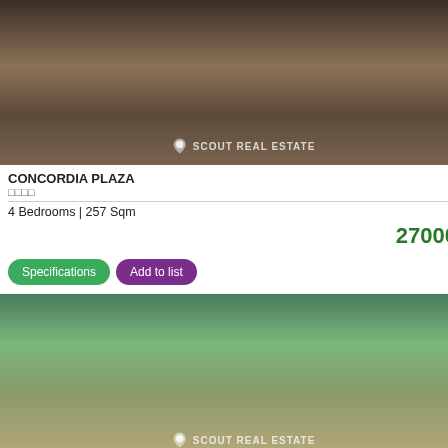[Figure (photo): Interior bedroom photo with Scout Real Estate watermark]
CONCORDIA PLAZA
□□□□
4 Bedrooms | 257 Sqm
27000 ₭
Specifications | Add to list
[Figure (photo): Interior bedroom photo with Scout Real Estate watermark]
CONCORDIA PLAZA
□□□□
4 Bedrooms | 275 Sqm
28000 ₭
Specifications | Add to list
[Figure (photo): Partial interior photo with Scout Real Estate watermark]
CONCO
□□□□
4 Bedr...
[Figure (photo): Living room with green walls, Scout Real Estate watermark]
CONCORDIA PLAZA
□□□□
3 Bedrooms | 208 Sqm
24000 ₭
[Figure (photo): Bright living room interior, Scout Real Estate watermark]
CONCORDIA PLAZA
□□□□
3 Bedrooms | 300 Sqm
33000 ₭
[Figure (photo): Partial living room photo with Scout Real Estate watermark]
CONCO
□□□□
4 Bedr...